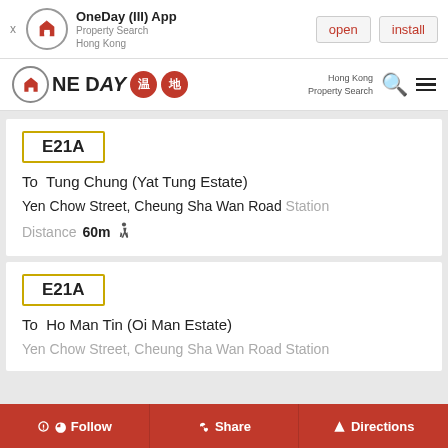OneDay (III) App — Property Search Hong Kong — open / install
[Figure (logo): OneDay Hong Kong Property Search logo with red circular icon and Chinese character badges]
E21A
To  Tung Chung (Yat Tung Estate)
Yen Chow Street, Cheung Sha Wan Road Station
Distance 60m
E21A
To  Ho Man Tin (Oi Man Estate)
Yen Chow Street, Cheung Sha Wan Road Station
Follow   Share   Directions